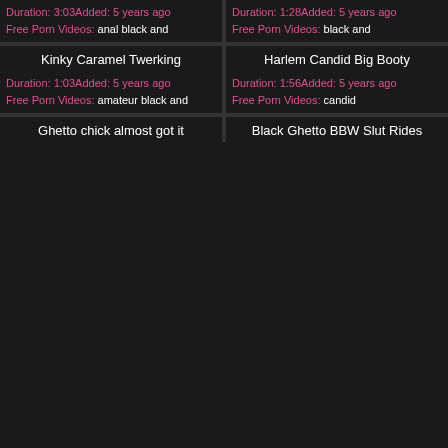[Figure (screenshot): Video thumbnail placeholder (gray) for first top card, left column]
Duration: 3:03Added: 5 years ago
Free Porn Videos: anal black and
[Figure (screenshot): Video thumbnail placeholder (gray) for first top card, right column]
Duration: 1:28Added: 5 years ago
Free Porn Videos: black and
Kinky Caramel Twerking
Harlem Candid Big Booty
[Figure (screenshot): Video thumbnail placeholder (gray) for Kinky Caramel Twerking]
Duration: 1:03Added: 5 years ago
Free Porn Videos: amateur black and
[Figure (screenshot): Video thumbnail placeholder (gray) for Harlem Candid Big Booty]
Duration: 1:56Added: 5 years ago
Free Porn Videos: candid
Ghetto chick almost got it
Black Ghetto BBW Slut Rides